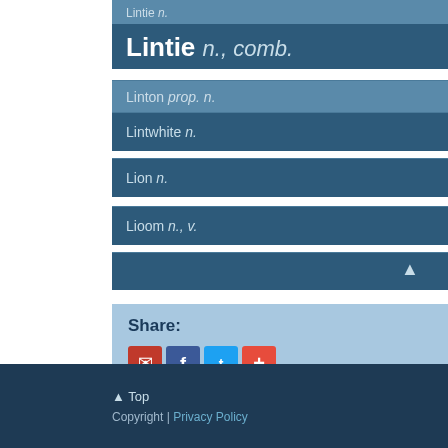Lintie n.
Lintie n., comb.
Linton prop. n.
Lintwhite n.
Lion n.
Lioom n., v.
Share:
[Figure (infographic): Share icons: email (red), Facebook (blue), Twitter (light blue), plus/more (red)]
↑ Top
Copyright | Privacy Policy